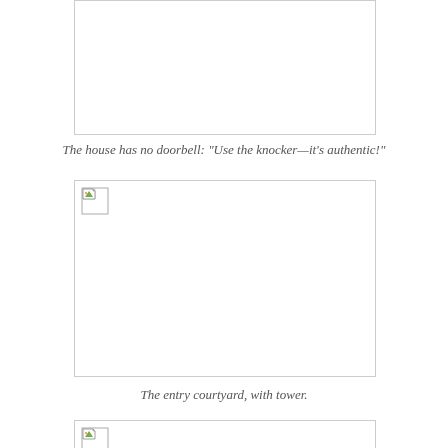[Figure (photo): Partially visible photo box at top of page, cut off]
The house has no doorbell: "Use the knocker—it's authentic!"
[Figure (photo): Photo of the entry courtyard with tower, shown as broken image placeholder]
The entry courtyard, with tower.
[Figure (photo): Third photo box, partially visible at bottom of page, cut off]